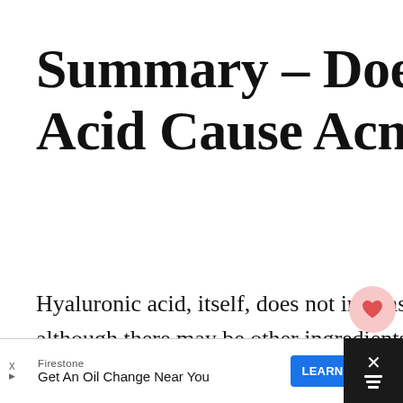Summary – Does Hyaluronic Acid Cause Acne?
Hyaluronic acid, itself, does not increase skin cell turnover or clog pores although there may be other ingredients included in products alongside it that do
If you have experienced a breakout after using hyaluronic acid, it may be down to your environment
[Figure (other): Social media sidebar with heart/like button showing count 8, and share button]
[Figure (other): What's Next promo box: 'Acne Vaccine: Everything...']
[Figure (other): Firestone advertisement banner: 'Get An Oil Change Near You' with LEARN MORE button and close button]